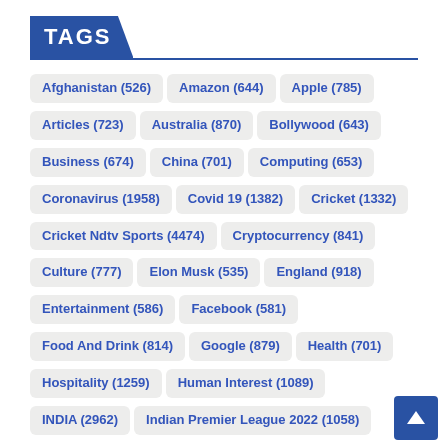TAGS
Afghanistan (526)
Amazon (644)
Apple (785)
Articles (723)
Australia (870)
Bollywood (643)
Business (674)
China (701)
Computing (653)
Coronavirus (1958)
Covid 19 (1382)
Cricket (1332)
Cricket Ndtv Sports (4474)
Cryptocurrency (841)
Culture (777)
Elon Musk (535)
England (918)
Entertainment (586)
Facebook (581)
Food And Drink (814)
Google (879)
Health (701)
Hospitality (1259)
Human Interest (1089)
INDIA (2962)
Indian Premier League 2022 (1058)